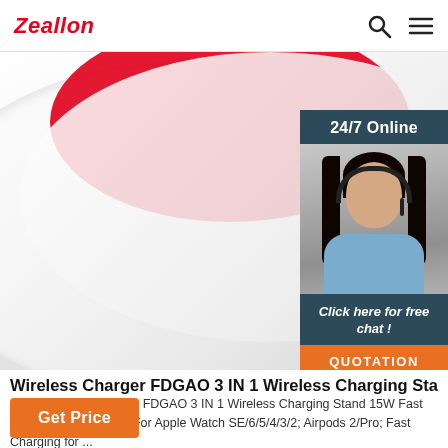Zeallon
[Figure (photo): Product image of a wireless charger with red and white fabric/textile background. On the right side, a 24/7 Online customer service chat widget shows a woman wearing a headset, with 'Click here for free chat!' text and an orange QUOTATION button.]
Wireless Charger FDGAO 3 IN 1 Wireless Charging Stand
Shop Wireless Charger FDGAO 3 IN 1 Wireless Charging Stand 15W Fast Charger Dock Station For Apple Watch SE/6/5/4/3/2; Airpods 2/Pro; Fast Charging for ...
Get Price